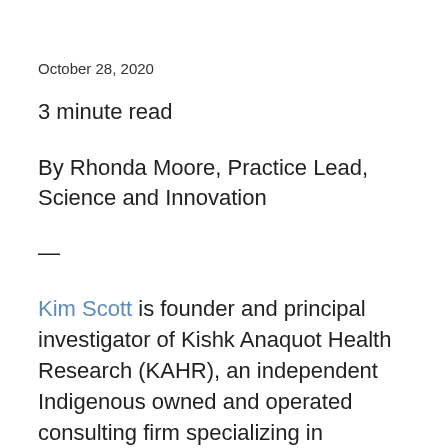October 28, 2020
3 minute read
By Rhonda Moore, Practice Lead, Science and Innovation
—
Kim Scott is founder and principal investigator of Kishk Anaquot Health Research (KAHR), an independent Indigenous owned and operated consulting firm specializing in strategic planning, program design, performance measurement, partnership development, and environmental sustainability. Kim joined the IOC